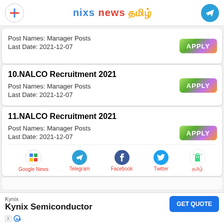nixs news தமிழ்
Post Names: Manager Posts
Last Date: 2021-12-07
10.NALCO Recruitment 2021
Post Names: Manager Posts
Last Date: 2021-12-07
11.NALCO Recruitment 2021
Post Names: Manager Posts
Last Date: 2021-12-07
Google News  Telegram  Facebook  Twitter  தமிழ்
Kynix
Kynix Semiconductor